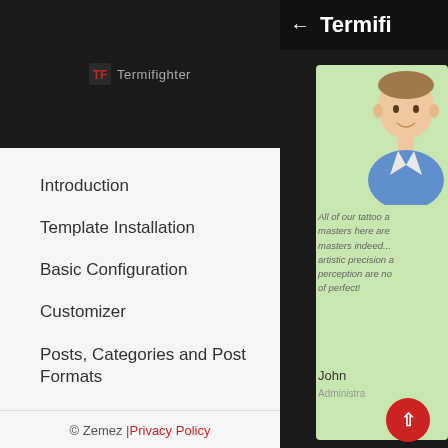[Figure (logo): Termifighter logo with stylized TF icon and text]
Introduction
Template Installation
Basic Configuration
Customizer
Posts, Categories and Post Formats
© Zemez | Privacy Policy
← Termifi
[Figure (photo): Smiling man in blue shirt on green background]
All of our tattoo a masters here are masters indeed... artistic precision a perception are no of perfect!
John
Administra